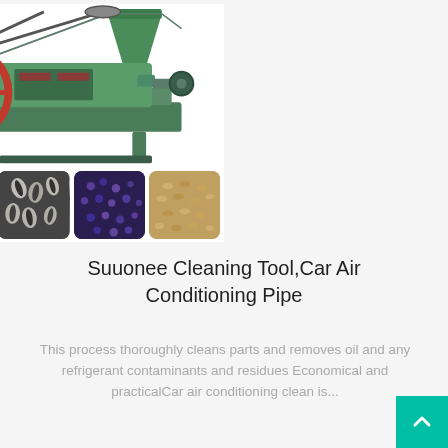[Figure (photo): Oil press machine (green industrial screw press with red flywheel) shown above five thumbnail images of oil seeds: soybeans, peanuts, sunflower seeds, black seeds, and grain/hemp seeds]
Suuonee Cleaning Tool,Car Air Conditioning Pipe
This process thoroughly cleans parts and removes oil and any refrigerant contaminants and residues Economical and practicalCar air conditioning clean is...